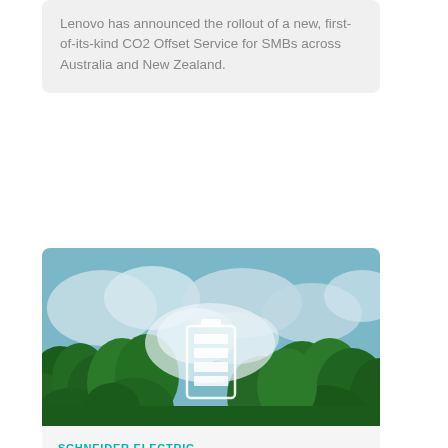Lenovo has announced the rollout of a new, first-of-its-kind CO2 Offset Service for SMBs across Australia and New Zealand.
[Figure (photo): Aerial view of green forest canopy with clouds and a battery icon overlay]
SCHNEIDER ELECTRIC
Schneider Electric launches SM AirSeT in Australia
The new medium-voltage switchgear uses pure air and vacuum